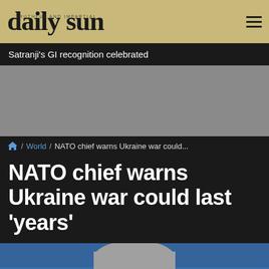daily sun
Satranji's GI recognition celebrated
[Figure (other): Advertisement grey block placeholder]
/ World / NATO chief warns Ukraine war could...
NATO chief warns Ukraine war could last 'years'
[Figure (photo): Man with grey hair and glasses speaking, blue background, appears to be NATO Secretary General Jens Stoltenberg]